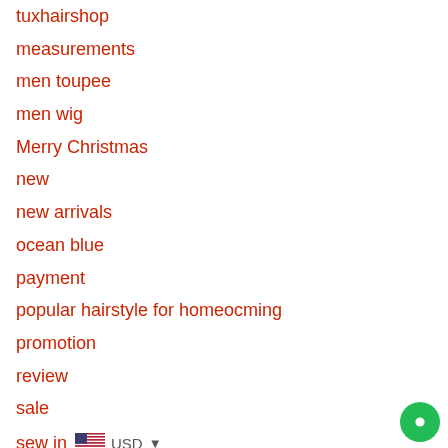tuxhairshop
measurements
men toupee
men wig
Merry Christmas
new
new arrivals
ocean blue
payment
popular hairstyle for homeocming
promotion
review
sale
sew in
short wig